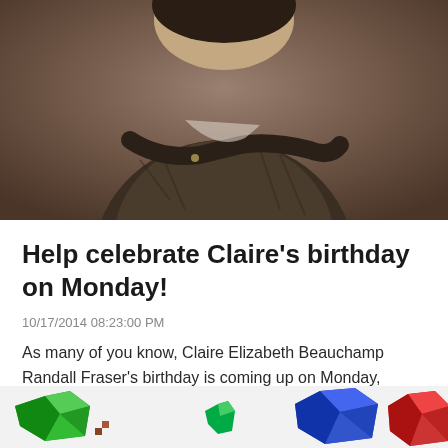[Figure (photo): A woman with arms crossed wearing a dark brown knit cardigan over a floral top, photographed against a warm brown background]
Help celebrate Claire's birthday on Monday!
10/17/2014 08:23:00 PM
As many of you know, Claire Elizabeth Beauchamp Randall Fraser's birthday is coming up on Monday, October 20. She will be 96 years old,...
[Figure (illustration): Colorful gem/jewel icons at the bottom of the page — green, blue, and red gems partially visible]